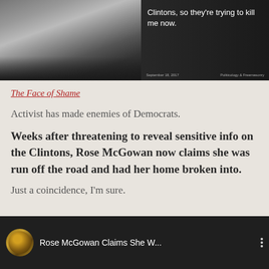[Figure (screenshot): Dark screenshot of a social media post with text on the right reading 'Clintons, so they're trying to kill me now.' with metadata at the bottom]
The Face of Shame
Activist has made enemies of Democrats.
Weeks after threatening to reveal sensitive info on the Clintons, Rose McGowan now claims she was run off the road and had her home broken into.
Just a coincidence, I'm sure.
[Figure (screenshot): Video thumbnail screenshot showing 'Rose McGowan Claims She W...' with a circular profile image on the left and three-dot menu on the right]